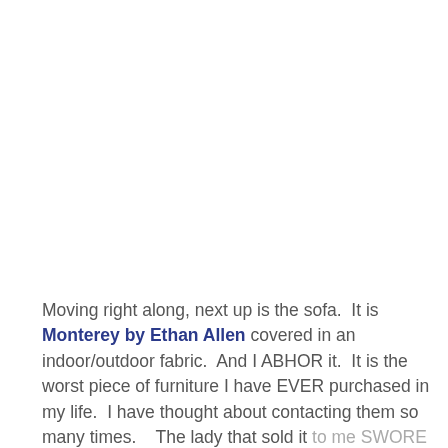Moving right along, next up is the sofa.  It is Monterey by Ethan Allen covered in an indoor/outdoor fabric.  And I ABHOR it.  It is the worst piece of furniture I have EVER purchased in my life.  I have thought about contacting them so many times.    The lady that sold it to me SWORE by the indoor/outdoor fabric  Saying it was stainless, maintenance free and perfect for...